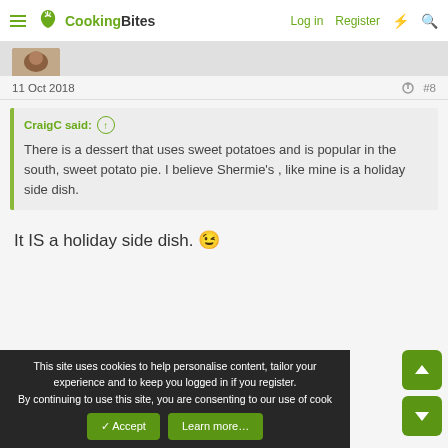CookingBites — Log in  Register
11 Oct 2018  #8
CraigC said: ↑
There is a dessert that uses sweet potatoes and is popular in the south, sweet potato pie. I believe Shermie's , like mine is a holiday side dish.
It IS a holiday side dish. 😉
This site uses cookies to help personalise content, tailor your experience and to keep you logged in if you register.
By continuing to use this site, you are consenting to our use of cookies.